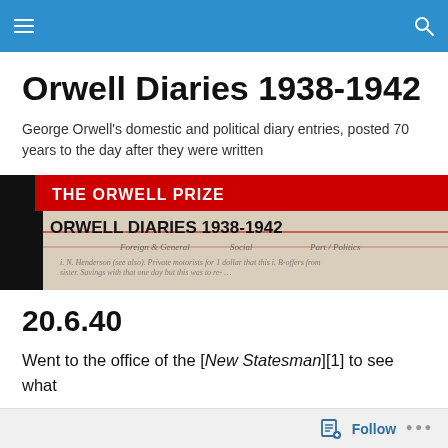Navigation bar
Orwell Diaries 1938-1942
George Orwell's domestic and political diary entries, posted 70 years to the day after they were written
[Figure (photo): Banner image for The Orwell Prize showing 'ORWELL DIARIES 1938-1942' text on a red and black header with a background of handwritten diary pages]
20.6.40
Went to the office of the [New Statesman][1] to see what
Follow